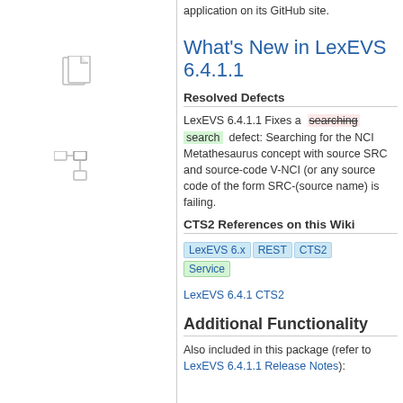application on its GitHub site.
What's New in LexEVS 6.4.1.1
Resolved Defects
LexEVS 6.4.1.1 Fixes a [searching] search defect: Searching for the NCI Metathesaurus concept with source SRC and source-code V-NCI (or any source code of the form SRC-(source name) is failing.
CTS2 References on this Wiki
LexEVS 6.x REST CTS2 Service
LexEVS 6.4.1 CTS2
Additional Functionality
Also included in this package (refer to LexEVS 6.4.1.1 Release Notes):